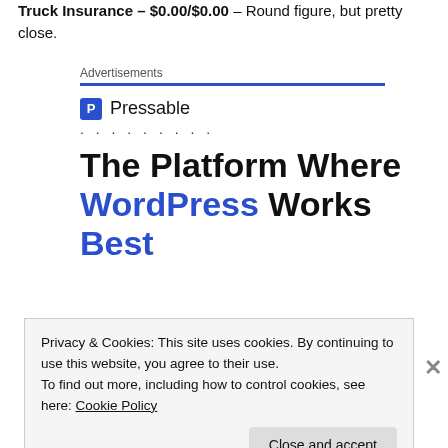Truck Insurance – $0.00/$0.00 – Round figure, but pretty close.
Advertisements
[Figure (screenshot): Pressable advertisement with logo, dots separator, and headline 'The Platform Where WordPress Works Best']
Privacy & Cookies: This site uses cookies. By continuing to use this website, you agree to their use. To find out more, including how to control cookies, see here: Cookie Policy
Close and accept